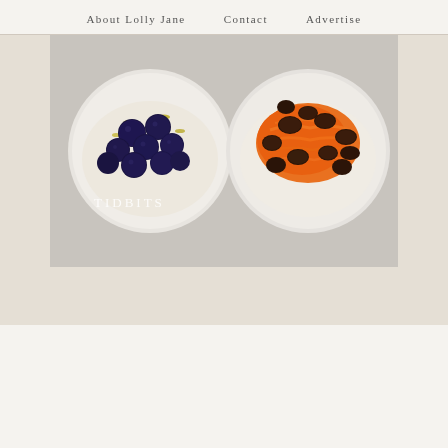About Lolly Jane   Contact   Advertise
[Figure (photo): Overhead view of two glass jars side by side. Left jar contains blueberries on top of oats/yogurt with yellow garnish. Right jar contains shredded carrots and raisins on top of oats/yogurt. White watermark text 'TIDBITS' visible on left jar.]